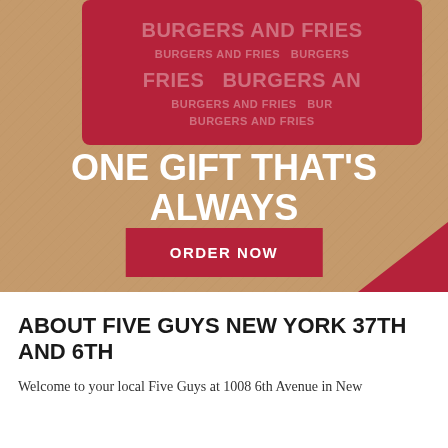[Figure (illustration): Five Guys promotional banner on kraft paper background with red gift card showing 'BURGERS and FRIES' text pattern at top, large white bold text reading 'ONE GIFT THAT'S ALWAYS IN STOCK', a red 'ORDER NOW' button, and a red corner accent at bottom right.]
ABOUT FIVE GUYS NEW YORK 37TH AND 6TH
Welcome to your local Five Guys at 1008 6th Avenue in New